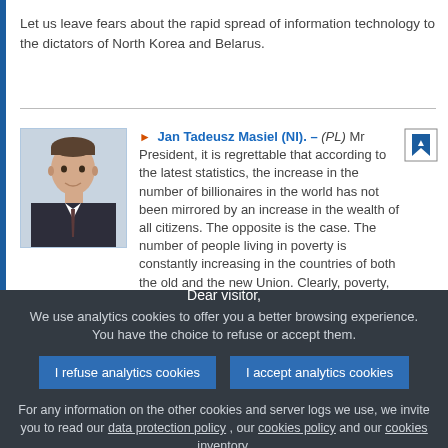Let us leave fears about the rapid spread of information technology to the dictators of North Korea and Belarus.
[Figure (photo): Portrait photo of Jan Tadeusz Masiel, a man in a dark suit and tie]
Jan Tadeusz Masiel (NI). – (PL) Mr President, it is regrettable that according to the latest statistics, the increase in the number of billionaires in the world has not been mirrored by an increase in the wealth of all citizens. The opposite is the case. The number of people living in poverty is constantly increasing in the countries of both the old and the new Union. Clearly, poverty, lack of social protection and the necessary social inclusion are problems experienced more acutely in the new Member States. In Poland, for example, we have a paradoxical situation. A former Socialist state is now providing less protection for
Dear visitor,
We use analytics cookies to offer you a better browsing experience. You have the choice to refuse or accept them.
For any information on the other cookies and server logs we use, we invite you to read our data protection policy , our cookies policy and our cookies inventory.